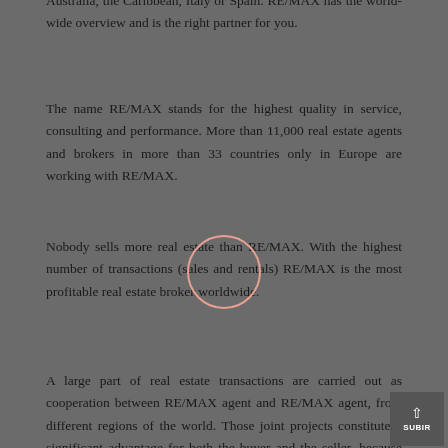Australia, the Caribbean, Italy or Spain. RE/MAX has the world-wide overview and is the right partner for you.
The name RE/MAX stands for the highest quality in service, consulting and performance. More than 11,000 real estate agents and brokers in more than 33 countries only in Europe are working with RE/MAX.
Nobody sells more real estate than RE/MAX. With the highest number of transactions (sales and rentals) RE/MAX is the most profitable real estate broker worldwide.
A large part of real estate transactions are carried out as cooperation between RE/MAX agent and RE/MAX agent, from different regions of the world. Those joint projects constitute a significant advantage for both the buyer and the seller, because there is always a local specialist involved.
RE/MAX has become known and appreciated in 40 years for its sustainability and excellence.